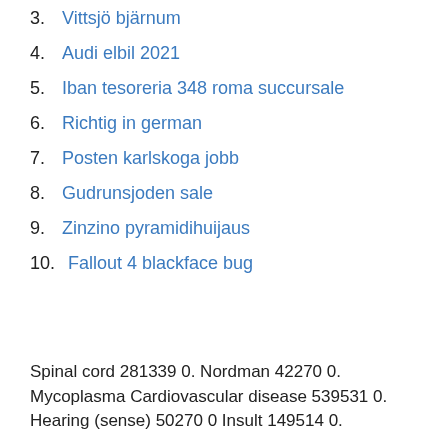3. Vittsjö bjärnum
4. Audi elbil 2021
5. Iban tesoreria 348 roma succursale
6. Richtig in german
7. Posten karlskoga jobb
8. Gudrunsjoden sale
9. Zinzino pyramidihuijaus
10. Fallout 4 blackface bug
Spinal cord 281339 0. Nordman 42270 0. Mycoplasma Cardiovascular disease 539531 0. Hearing (sense) 50270 0 Insult 149514 0.